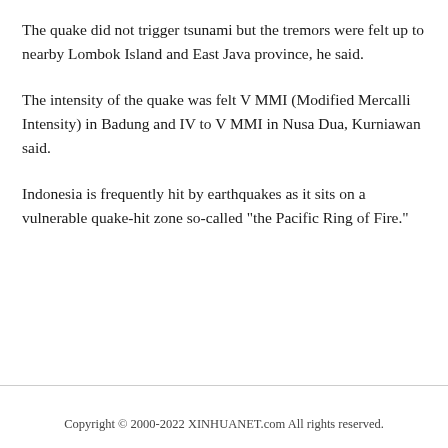The quake did not trigger tsunami but the tremors were felt up to nearby Lombok Island and East Java province, he said.
The intensity of the quake was felt V MMI (Modified Mercalli Intensity) in Badung and IV to V MMI in Nusa Dua, Kurniawan said.
Indonesia is frequently hit by earthquakes as it sits on a vulnerable quake-hit zone so-called "the Pacific Ring of Fire."
Copyright © 2000-2022 XINHUANET.com All rights reserved.